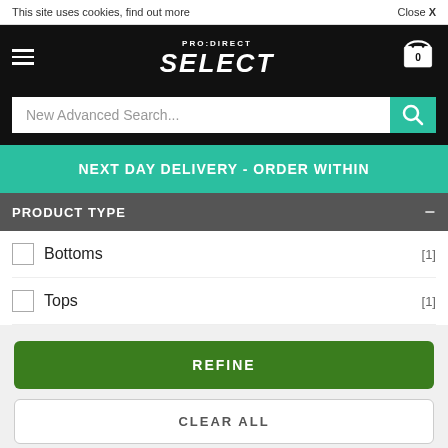This site uses cookies, find out more   Close X
[Figure (logo): PRO:DIRECT SELECT logo with hamburger menu and shopping cart icon showing 0 items]
New Advanced Search...
NEXT DAY DELIVERY - ORDER WITHIN
PRODUCT TYPE
Bottoms [1]
Tops [1]
REFINE
CLEAR ALL